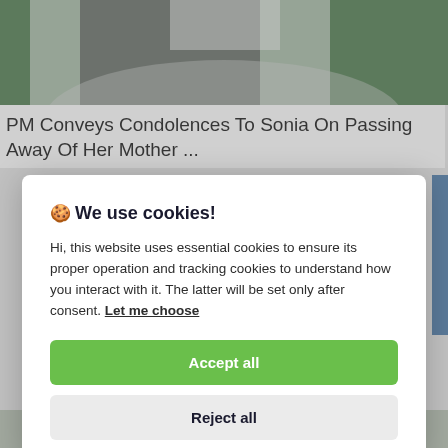[Figure (photo): Partial photo of a person in a white shirt and dark vest/waistcoat against a green background, cropped at the top of the page]
PM Conveys Condolences To Sonia On Passing Away Of Her Mother ...
🍪 We use cookies!
Hi, this website uses essential cookies to ensure its proper operation and tracking cookies to understand how you interact with it. The latter will be set only after consent. Let me choose
Accept all
Reject all